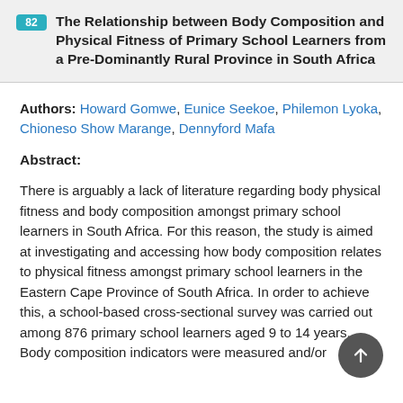82 The Relationship between Body Composition and Physical Fitness of Primary School Learners from a Pre-Dominantly Rural Province in South Africa
Authors: Howard Gomwe, Eunice Seekoe, Philemon Lyoka, Chioneso Show Marange, Dennyford Mafa
Abstract:
There is arguably a lack of literature regarding body physical fitness and body composition amongst primary school learners in South Africa. For this reason, the study is aimed at investigating and accessing how body composition relates to physical fitness amongst primary school learners in the Eastern Cape Province of South Africa. In order to achieve this, a school-based cross-sectional survey was carried out among 876 primary school learners aged 9 to 14 years. Body composition indicators were measured and/or